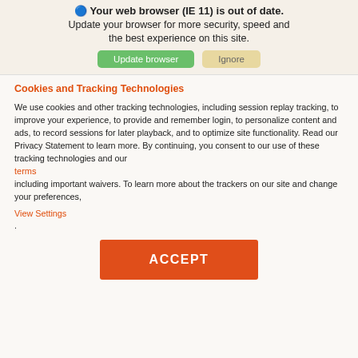[Figure (screenshot): Browser update notification banner with icon, text 'Your web browser (IE 11) is out of date. Update your browser for more security, speed and the best experience on this site.' with 'Update browser' (green) and 'Ignore' (tan) buttons]
Cookies and Tracking Technologies
We use cookies and other tracking technologies, including session replay tracking, to improve your experience, to provide and remember login, to personalize content and ads, to record sessions for later playback, and to optimize site functionality. Read our Privacy Statement to learn more. By continuing, you consent to our use of these tracking technologies and our
terms
including important waivers. To learn more about the trackers on our site and change your preferences,
View Settings
.
[Figure (screenshot): Large orange ACCEPT button]